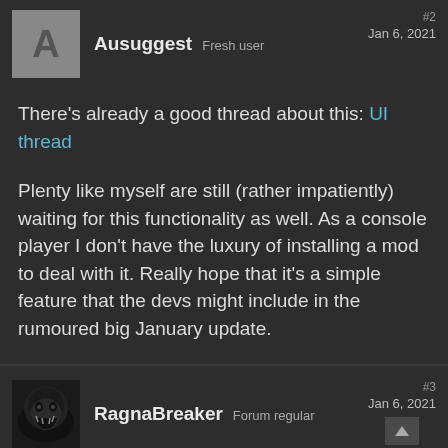Ausuggest Fresh user | #2 Jan 6, 2021
There's already a good thread about this: UI thread
Plenty like myself are still (rather impatiently) waiting for this functionality as well. As a console player I don't have the luxury of installing a mod to deal with it. Really hope that it's a simple feature that the devs might include in the rumoured big January update.
RagnaBreaker Forum regular | #3 Jan 6, 2021
A system is not "broken" just because you can't